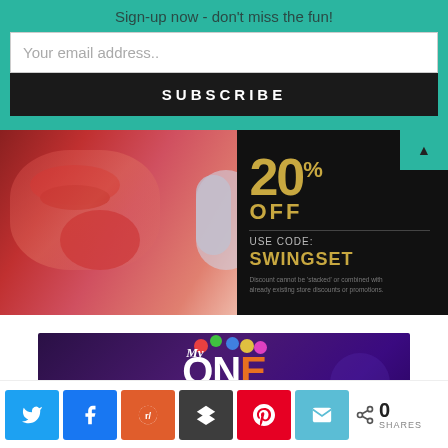Sign-up now - don't miss the fun!
[Figure (screenshot): Email subscription form with teal background, text input for email address, and black SUBSCRIBE button]
[Figure (illustration): Advertisement banner showing 20% OFF USE CODE: SWINGSET discount offer with fine print about not stacking discounts]
[Figure (illustration): My ONE Perfect Fit condom advertisement with colorful logo and text DITCH UNCOMFORTABLE CONDOMS on purple background]
[Figure (infographic): Social share bar with Twitter, Facebook, Reddit, Buffer, Pinterest, and Email buttons, showing 0 SHARES]